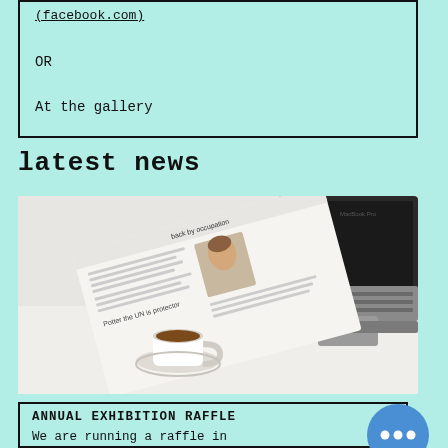(facebook.com)
OR
At the gallery
latest news
[Figure (photo): A newspaper folded open beside a cup of coffee and espresso saucer, resting against an open laptop on a white surface.]
ANNUAL EXHIBITION RAFFLE
We are running a raffle in